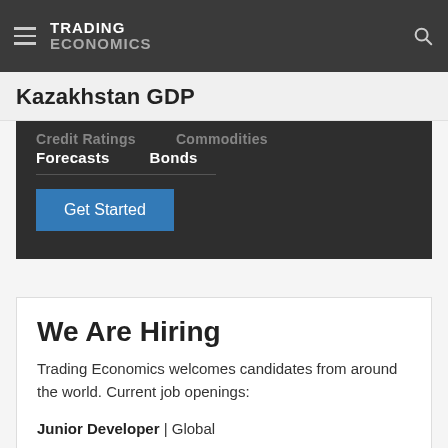TRADING ECONOMICS
Kazakhstan GDP
Credit Ratings
Forecasts
Commodities
Bonds
Get Started
We Are Hiring
Trading Economics welcomes candidates from around the world. Current job openings:
Junior Developer | Global
Web Designer | Global
Junior Data Analyst | America
Systems Monitoring | Asia